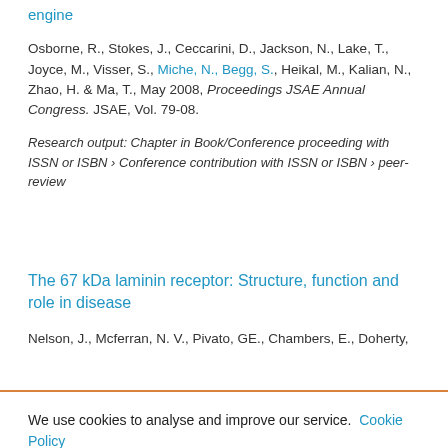engine
Osborne, R., Stokes, J., Ceccarini, D., Jackson, N., Lake, T., Joyce, M., Visser, S., Miche, N., Begg, S., Heikal, M., Kalian, N., Zhao, H. & Ma, T., May 2008, Proceedings JSAE Annual Congress. JSAE, Vol. 79-08.
Research output: Chapter in Book/Conference proceeding with ISSN or ISBN › Conference contribution with ISSN or ISBN › peer-review
The 67 kDa laminin receptor: Structure, function and role in disease
Nelson, J., Mcferran, N. V., Pivato, GE., Chambers, E., Doherty,
We use cookies to analyse and improve our service. Cookie Policy
Cookies Settings
Accept All Cookies